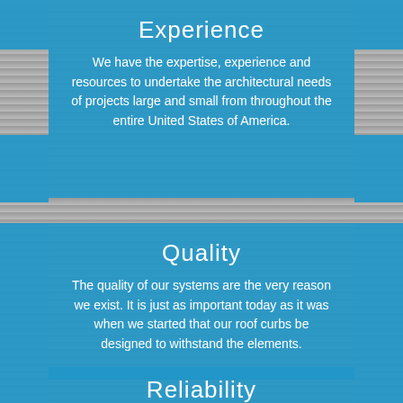Experience
We have the expertise, experience and resources to undertake the architectural needs of projects large and small from throughout the entire United States of America.
Quality
The quality of our systems are the very reason we exist. It is just as important today as it was when we started that our roof curbs be designed to withstand the elements.
Reliability